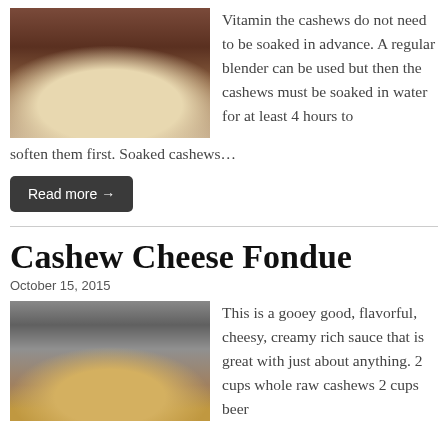[Figure (photo): Photo of a plated dish with sauce on a white plate]
Vitamin the cashews do not need to be soaked in advance. A regular blender can be used but then the cashews must be soaked in water for at least 4 hours to soften them first. Soaked cashews…
Read more →
Cashew Cheese Fondue
October 15, 2015
[Figure (photo): Photo of hands pouring liquid into a metal bowl on a stove]
This is a gooey good, flavorful, cheesy, creamy rich sauce that is great with just about anything. 2 cups whole raw cashews 2 cups beer